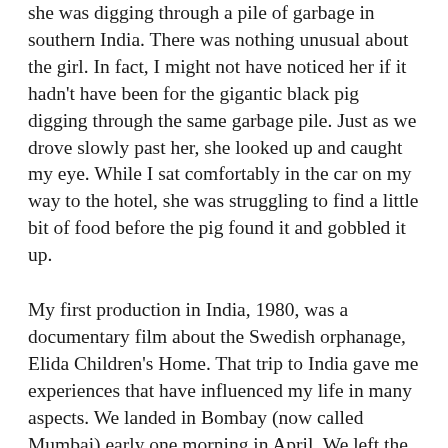she was digging through a pile of garbage in southern India. There was nothing unusual about the girl. In fact, I might not have noticed her if it hadn't have been for the gigantic black pig digging through the same garbage pile. Just as we drove slowly past her, she looked up and caught my eye. While I sat comfortably in the car on my way to the hotel, she was struggling to find a little bit of food before the pig found it and gobbled it up.
My first production in India, 1980, was a documentary film about the Swedish orphanage, Elida Children's Home. That trip to India gave me experiences that have influenced my life in many aspects. We landed in Bombay (now called Mumbai) early one morning in April. We left the airport before 6 AM and the taxi dropped us off in the middle of the city where we walked along streets where people dressed in rags still slept or were just waking up. A few luckier individuals slept on collapsed cardboard boxes. I was only 22 years old and never experienced anything like it – thousands of people! Many were